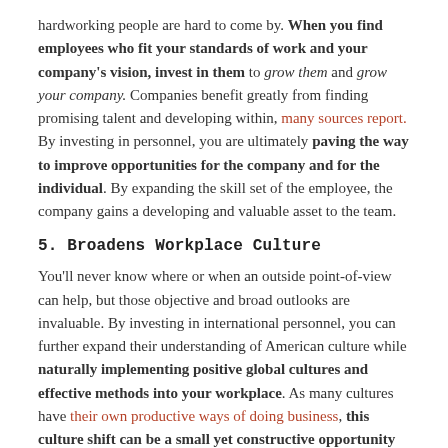hardworking people are hard to come by. When you find employees who fit your standards of work and your company's vision, invest in them to grow them and grow your company. Companies benefit greatly from finding promising talent and developing within, many sources report. By investing in personnel, you are ultimately paving the way to improve opportunities for the company and for the individual. By expanding the skill set of the employee, the company gains a developing and valuable asset to the team.
5. Broadens Workplace Culture
You'll never know where or when an outside point-of-view can help, but those objective and broad outlooks are invaluable. By investing in international personnel, you can further expand their understanding of American culture while naturally implementing positive global cultures and effective methods into your workplace. As many cultures have their own productive ways of doing business, this culture shift can be a small yet constructive opportunity to improve your daily operations. Even if it's through something as small as effective and distinctive organization habits, we can learn so much from other traditions.